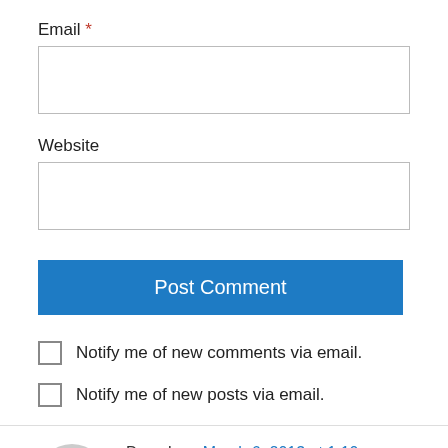Email *
Website
Post Comment
Notify me of new comments via email.
Notify me of new posts via email.
Dave L on March 6, 2013 at 1:10 pm
You've got to treat me kind,